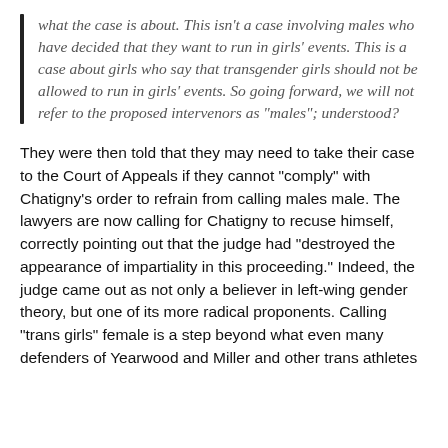what the case is about. This isn't a case involving males who have decided that they want to run in girls' events. This is a case about girls who say that transgender girls should not be allowed to run in girls' events. So going forward, we will not refer to the proposed intervenors as "males"; understood?
They were then told that they may need to take their case to the Court of Appeals if they cannot "comply" with Chatigny's order to refrain from calling males male. The lawyers are now calling for Chatigny to recuse himself, correctly pointing out that the judge had "destroyed the appearance of impartiality in this proceeding." Indeed, the judge came out as not only a believer in left-wing gender theory, but one of its more radical proponents. Calling "trans girls" female is a step beyond what even many defenders of Yearwood and Miller and other trans athletes